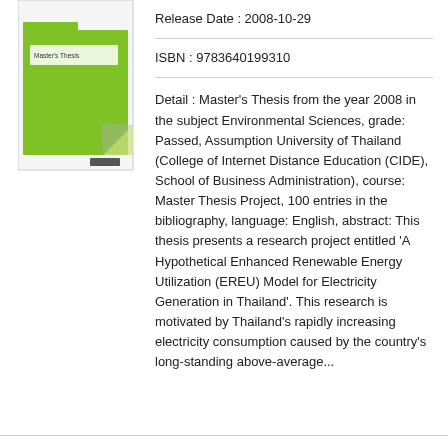[Figure (illustration): Book cover thumbnail showing a green folder/document cover with 'Master's Thesis' text and a page curl effect at bottom right]
Release Date : 2008-10-29
ISBN : 9783640199310
Detail : Master's Thesis from the year 2008 in the subject Environmental Sciences, grade: Passed, Assumption University of Thailand (College of Internet Distance Education (CIDE), School of Business Administration), course: Master Thesis Project, 100 entries in the bibliography, language: English, abstract: This thesis presents a research project entitled 'A Hypothetical Enhanced Renewable Energy Utilization (EREU) Model for Electricity Generation in Thailand'. This research is motivated by Thailand's rapidly increasing electricity consumption caused by the country's long-standing above-average...